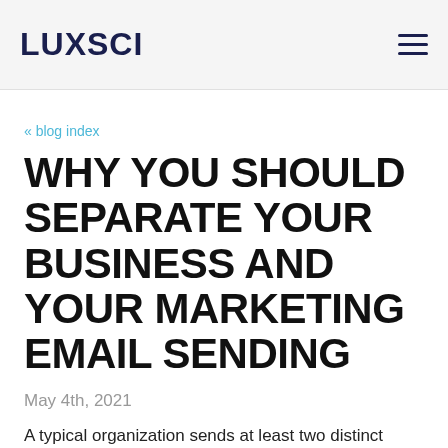LUXSCI
« blog index
WHY YOU SHOULD SEPARATE YOUR BUSINESS AND YOUR MARKETING EMAIL SENDING
May 4th, 2021
A typical organization sends at least two distinct